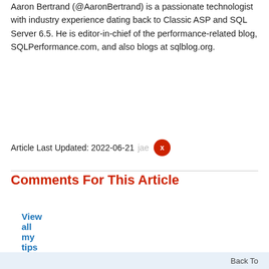Aaron Bertrand (@AaronBertrand) is a passionate technologist with industry experience dating back to Classic ASP and SQL Server 6.5. He is editor-in-chief of the performance-related blog, SQLPerformance.com, and also blogs at sqlblog.org.
View all my tips
Article Last Updated: 2022-06-21
Comments For This Article
Add Comment
Back To